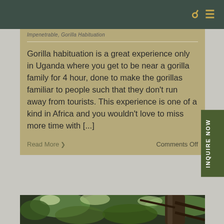Search | Menu
Impenetrable, Gorilla Habituation
Gorilla habituation is a great experience only in Uganda where you get to be near a gorilla family for 4 hour, done to make the gorillas familiar to people such that they don't run away from tourists. This experience is one of a kind in Africa and you wouldn't love to miss more time with [...]
Read More ›
Comments Off
[Figure (photo): Forest canopy / tree photo at the bottom of the page]